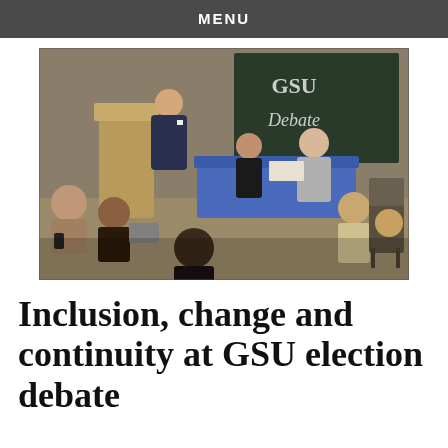MENU
[Figure (photo): A classroom or lecture hall scene showing a GSU (Graduate Student Union) election debate. A man in a suit stands at a wooden podium on the left. Two candidates – a woman and a man in a grey jumper – sit at a table covered with a blue tablecloth at the centre. An audience of students sits in chairs facing them. A chalkboard in the background reads 'GSU DEBATE'.]
Inclusion, change and continuity at GSU election debate